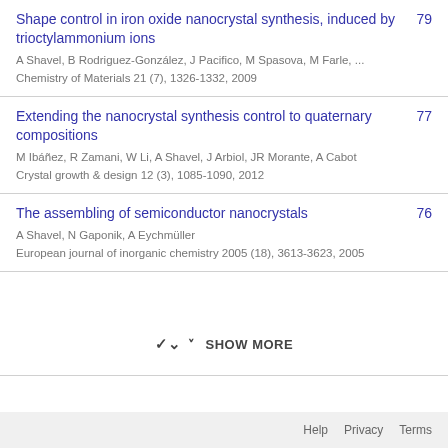Shape control in iron oxide nanocrystal synthesis, induced by trioctylammonium ions | 79 | A Shavel, B Rodriguez-González, J Pacifico, M Spasova, M Farle, ... | Chemistry of Materials 21 (7), 1326-1332, 2009
Extending the nanocrystal synthesis control to quaternary compositions | 77 | M Ibáñez, R Zamani, W Li, A Shavel, J Arbiol, JR Morante, A Cabot | Crystal growth & design 12 (3), 1085-1090, 2012
The assembling of semiconductor nanocrystals | 76 | A Shavel, N Gaponik, A Eychmüller | European journal of inorganic chemistry 2005 (18), 3613-3623, 2005
SHOW MORE
Help   Privacy   Terms